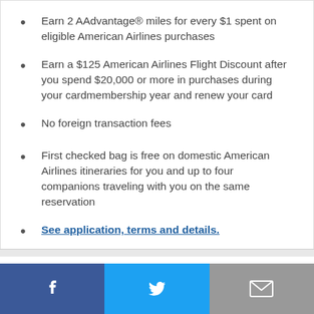Earn 2 AAdvantage® miles for every $1 spent on eligible American Airlines purchases
Earn a $125 American Airlines Flight Discount after you spend $20,000 or more in purchases during your cardmembership year and renew your card
No foreign transaction fees
First checked bag is free on domestic American Airlines itineraries for you and up to four companions traveling with you on the same reservation
See application, terms and details.